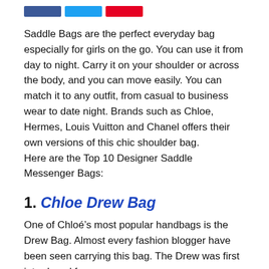[Figure (other): Three social sharing buttons: Facebook (blue), Twitter (light blue), Pinterest (red)]
Saddle Bags are the perfect everyday bag especially for girls on the go. You can use it from day to night. Carry it on your shoulder or across the body, and you can move easily. You can match it to any outfit, from casual to business wear to date night. Brands such as Chloe, Hermes, Louis Vuitton and Chanel offers their own versions of this chic shoulder bag.
Here are the Top 10 Designer Saddle Messenger Bags:
1. Chloe Drew Bag
One of Chloe’s most popular handbags is the Drew Bag. Almost every fashion blogger have been seen carrying this bag. The Drew was first introduced for